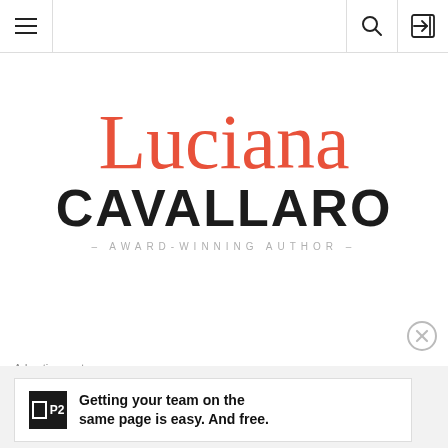Navigation bar with hamburger menu, search icon, and login icon
[Figure (logo): Luciana Cavallaro - Award-Winning Author logo. Script font 'Luciana' in coral/red above bold sans-serif 'CAVALLARO' in dark grey/black, with subtitle '- AWARD-WINNING AUTHOR -' in light grey spaced caps.]
Advertisements
Getting your team on the same page is easy. And free.